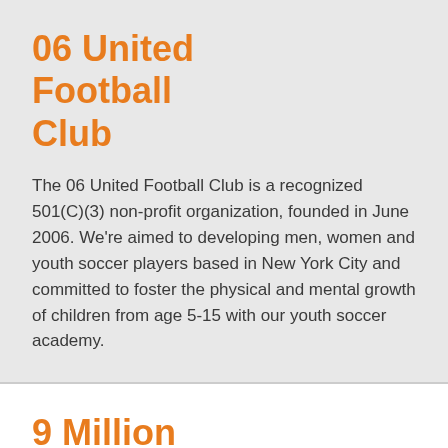06 United Football Club
The 06 United Football Club is a recognized 501(C)(3) non-profit organization, founded in June 2006. We're aimed to developing men, women and youth soccer players based in New York City and committed to foster the physical and mental growth of children from age 5-15 with our youth soccer academy.
9 Million Reasons
9MR assists New York City residents to stand on their own two feet. We do this through food…